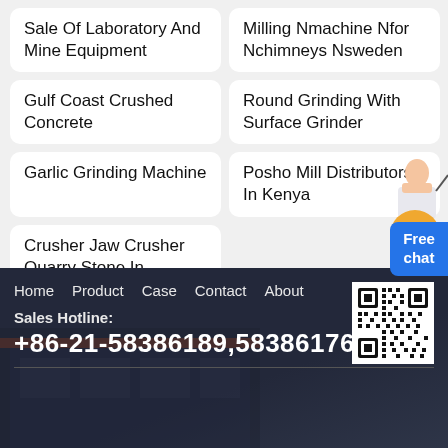Sale Of Laboratory And Mine Equipment
Milling Nmachine Nfor Nchimneys Nsweden
Gulf Coast Crushed Concrete
Round Grinding With Surface Grinder
Garlic Grinding Machine
Posho Mill Distributors In Kenya
Crusher Jaw Crusher Quarry Stone In Romania
[Figure (illustration): Female assistant figure with blue free chat button]
[Figure (illustration): Orange scroll-to-top circular button with upward arrow]
Home   Product   Case   Contact   About
[Figure (other): QR code for website]
Sales Hotline:
+86-21-58386189,58386176